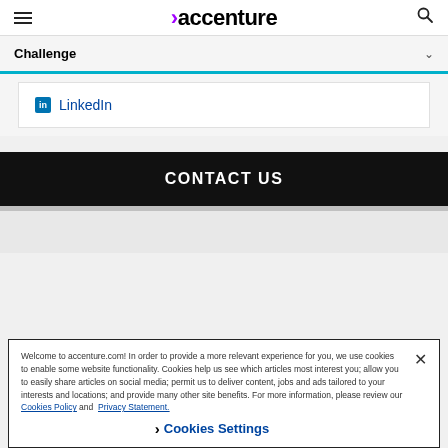accenture
Challenge
LinkedIn
CONTACT US
Welcome to accenture.com! In order to provide a more relevant experience for you, we use cookies to enable some website functionality. Cookies help us see which articles most interest you; allow you to easily share articles on social media; permit us to deliver content, jobs and ads tailored to your interests and locations; and provide many other site benefits. For more information, please review our Cookies Policy and Privacy Statement.
Cookies Settings